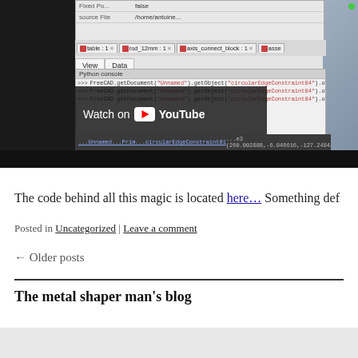[Figure (screenshot): FreeCAD Python console screenshot showing property panel with 'Fixed Po... false' and 'source File /home/antoine...' rows, tabs for table:1, rod_12mm:1, axis_connect_block:1, asse... with View/Data tabs, Python console with three FreeCAD.getDocument('Unnamed').getObject('circularEdgeConstraint04').offset commands showing values 1.00, 10.00, 160.00, and a 'Watch on YouTube' overlay, plus status bar showing coordinates (260.002808,-6.946616,-127.248421)]
The code behind all this magic is located here… Something def
Posted in Uncategorized | Leave a comment
← Older posts
The metal shaper man's blog